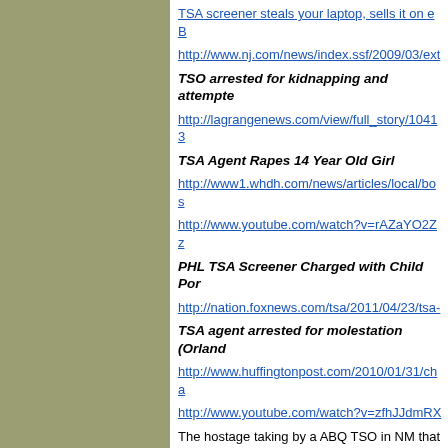TSA screener steals your laptop, sells it on eB
http://www.nj.com/news/index.ssf/2009/03/ext
TSO arrested for kidnapping and attempte
http://lagrangenews.com/view/full_story/10413
TSA Agent Rapes 14 Year Old Girl
http://www1.whdh.com/news/articles/local/bos
http://www.youtube.com/watch?v=rAZaYO2Zz
PHL TSA Screener Charged with Child Por
http://nation.foxnews.com/tsa/2011/04/23/tsa-
TSA agent arrested for molestation (Orland
http://www.huffingtonpost.com/2010/01/31/cha
http://www.youtube.com/watch?v=zfhJJdmRX
The hostage taking by a ABQ TSO in NM that
http://www.youtube.com/watch?v=onRy5zeX3
The conviction of a PHL TSO for theft of lapto
http://travel.usatoday.com/flights/2010-12-17-